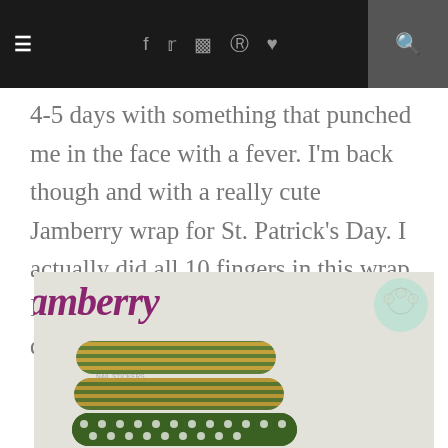≡ f t ☷ ℗ ♥ 🔍
4-5 days with something that punched me in the face with a fever. I'm back though and with a really cute Jamberry wrap for St. Patrick's Day. I actually did all 10 fingers in this wrap. It is still challenging for me, but I'm definitely getting better.
[Figure (photo): Photo of a Jamberry nail wraps package showing the 'amberry' logo text in purple script, a round watermark/logo in the top right corner, green striped nail wrap strips and green polka dot nail wrap strips arranged on a light gray background.]